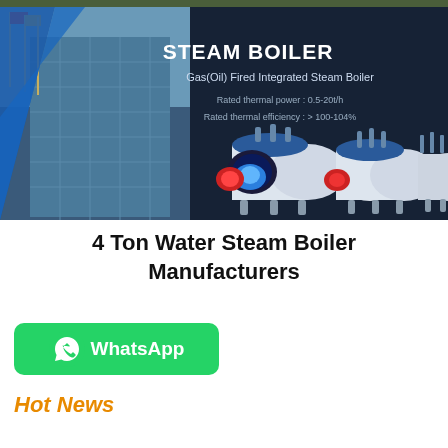[Figure (photo): Steam boiler product banner with building exterior on left, dark navy background, showing gas/oil fired integrated steam boilers with specifications. Title reads STEAM BOILER, subtitle Gas(Oil) Fired Integrated Steam Boiler, rated thermal power 0.5-20t/h, rated thermal efficiency >100-104%]
4 Ton Water Steam Boiler Manufacturers
[Figure (logo): WhatsApp button - green rounded rectangle with WhatsApp icon and text WhatsApp]
Hot News